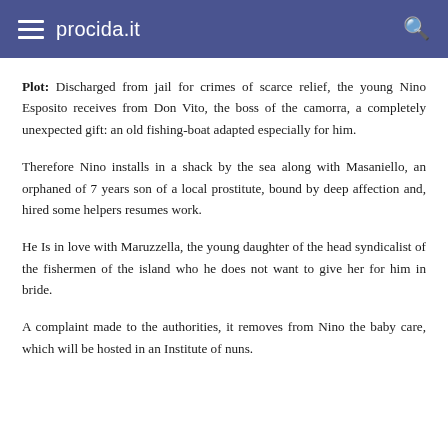procida.it
Plot: Discharged from jail for crimes of scarce relief, the young Nino Esposito receives from Don Vito, the boss of the camorra, a completely unexpected gift: an old fishing-boat adapted especially for him.
Therefore Nino installs in a shack by the sea along with Masaniello, an orphaned of 7 years son of a local prostitute, bound by deep affection and, hired some helpers resumes work.
He Is in love with Maruzzella, the young daughter of the head syndicalist of the fishermen of the island who he does not want to give her for him in bride.
A complaint made to the authorities, it removes from Nino the baby care, which will be hosted in an Institute of nuns.